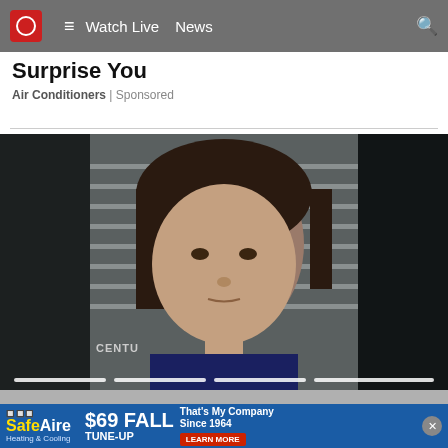10 ≡ Watch Live News 🔍
Surprise You
Air Conditioners | Sponsored
[Figure (photo): Mugshot of a young woman with dark shoulder-length hair in front of a booking wall. Text 'CENTU' visible at bottom left of the image. Slideshow indicator dots visible at bottom.]
[Figure (infographic): SafeAire Heating & Cooling advertisement banner. Text: '$69 FALL TUNE-UP', 'That's My Company Since 1964', 'LEARN MORE' button. Blue background with close button.]